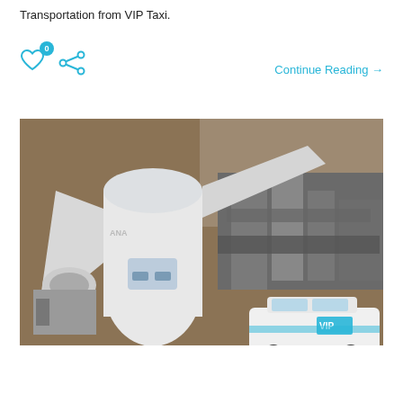Transportation from VIP Taxi.
[Figure (illustration): Social media interaction icons: heart/like icon with badge showing 0, and share icon]
Continue Reading →
[Figure (photo): Aerial view of a large white commercial airplane (Ana livery) docked at an airport terminal gate, with a white VIP Taxi car (Toyota Prius) visible in the lower right corner of the image.]